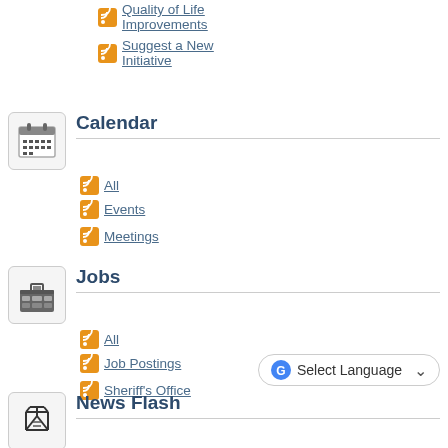Quality of Life Improvements
Suggest a New Initiative
Calendar
All
Events
Meetings
Jobs
All
Job Postings
Sheriff's Office
Select Language
News Flash